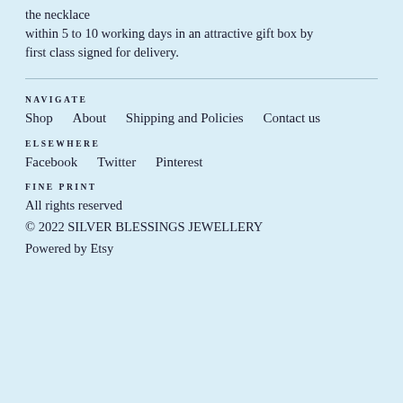the necklace within 5 to 10 working days in an attractive gift box by first class signed for delivery.
NAVIGATE
Shop    About    Shipping and Policies    Contact us
ELSEWHERE
Facebook    Twitter    Pinterest
FINE PRINT
All rights reserved
© 2022 SILVER BLESSINGS JEWELLERY
Powered by Etsy